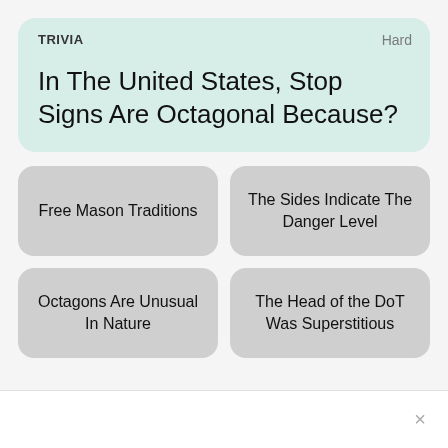TRIVIA
Hard
In The United States, Stop Signs Are Octagonal Because?
Free Mason Traditions
The Sides Indicate The Danger Level
Octagons Are Unusual In Nature
The Head of the DoT Was Superstitious
×